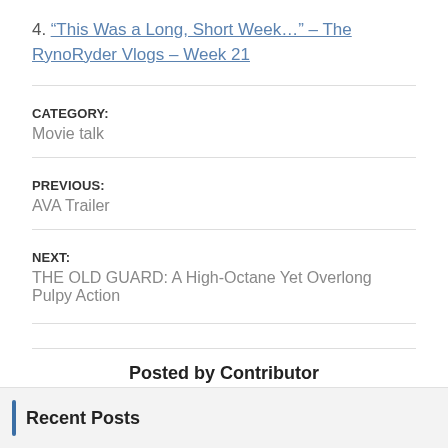4. “This Was a Long, Short Week…” – The RynoRyder Vlogs – Week 21
CATEGORY:
Movie talk
PREVIOUS:
AVA Trailer
NEXT:
THE OLD GUARD: A High-Octane Yet Overlong Pulpy Action
Posted by Contributor
All Posts   Website
Recent Posts